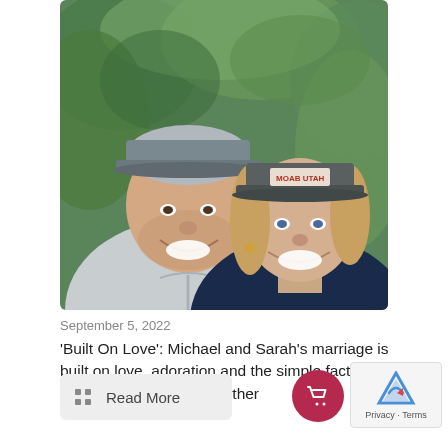[Figure (photo): A couple smiling together outdoors. A man wearing a gray zip-up jacket and a gray baseball cap on the left, and a woman wearing a navy hoodie and a 'Moab Utah' trucker hat on the right, with green foliage in the background.]
September 5, 2022
'Built On Love': Michael and Sarah's marriage is built on love, adoration and the simple fact that they are made for each other
Read More